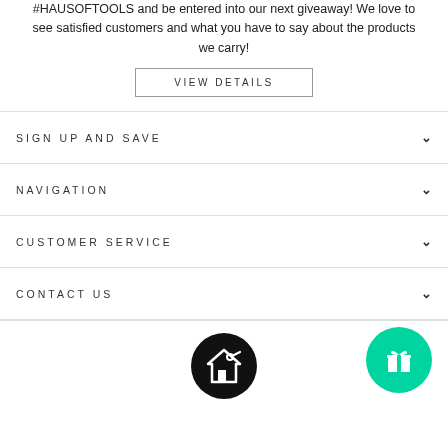#HAUSOFTOOLS and be entered into our next giveaway! We love to see satisfied customers and what you have to say about the products we carry!
VIEW DETAILS
SIGN UP AND SAVE
NAVIGATION
CUSTOMER SERVICE
CONTACT US
[Figure (logo): Haus of Tools logo: black circle with a house icon and wrench, and a green circle with a gift icon]